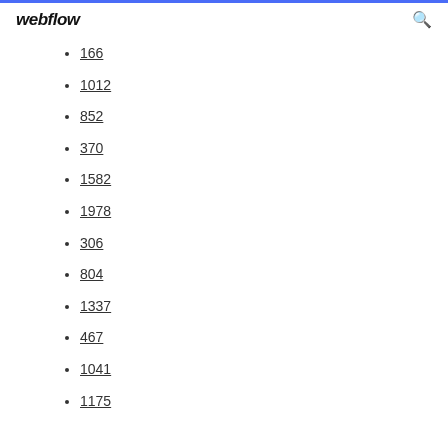webflow
166
1012
852
370
1582
1978
306
804
1337
467
1041
1175